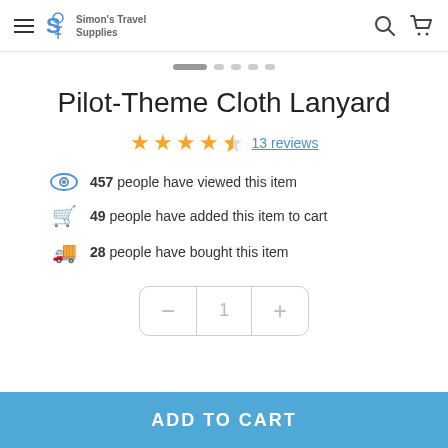Simon's Travel Supplies
Pilot-Theme Cloth Lanyard
13 reviews — 4.5 star rating
457 people have viewed this item
49 people have added this item to cart
28 people have bought this item
Quantity: 1
ADD TO CART